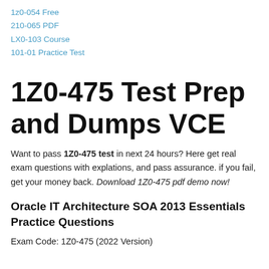1z0-054 Free
210-065 PDF
LX0-103 Course
101-01 Practice Test
1Z0-475 Test Prep and Dumps VCE
Want to pass 1Z0-475 test in next 24 hours? Here get real exam questions with explations, and pass assurance. if you fail, get your money back. Download 1Z0-475 pdf demo now!
Oracle IT Architecture SOA 2013 Essentials Practice Questions
Exam Code: 1Z0-475 (2022 Version)